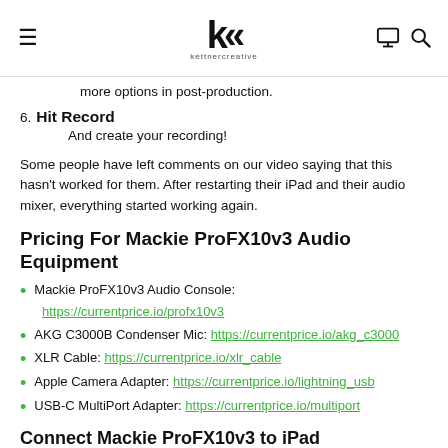kettner creative
more options in post-production.
6. Hit Record
    And create your recording!
Some people have left comments on our video saying that this hasn't worked for them. After restarting their iPad and their audio mixer, everything started working again.
Pricing For Mackie ProFX10v3 Audio Equipment
Mackie ProFX10v3 Audio Console: https://currentprice.io/profx10v3
AKG C3000B Condenser Mic: https://currentprice.io/akg_c3000
XLR Cable: https://currentprice.io/xlr_cable
Apple Camera Adapter: https://currentprice.io/lightning_usb
USB-C MultiPort Adapter: https://currentprice.io/multiport
Connect Mackie ProFX10v3 to iPad